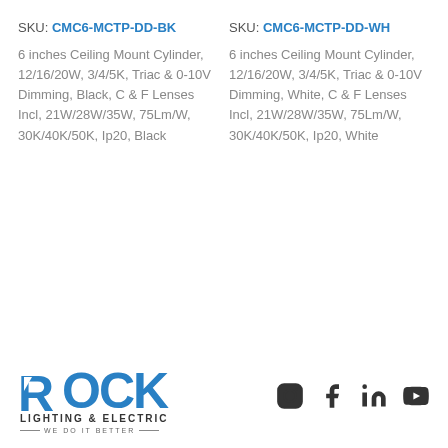SKU: CMC6-MCTP-DD-BK
6 inches Ceiling Mount Cylinder, 12/16/20W, 3/4/5K, Triac & 0-10V Dimming, Black, C & F Lenses Incl, 21W/28W/35W, 75Lm/W, 30K/40K/50K, Ip20, Black
SKU: CMC6-MCTP-DD-WH
6 inches Ceiling Mount Cylinder, 12/16/20W, 3/4/5K, Triac & 0-10V Dimming, White, C & F Lenses Incl, 21W/28W/35W, 75Lm/W, 30K/40K/50K, Ip20, White
[Figure (logo): Rock Lighting & Electric logo with tagline WE DO IT BETTER and social media icons (Instagram, Facebook, LinkedIn, YouTube)]